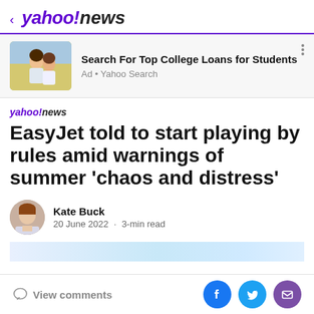< yahoo!news
[Figure (infographic): Advertisement banner: photo of two young women laughing outdoors. Ad text: Search For Top College Loans for Students. Ad · Yahoo Search]
yahoo!news
EasyJet told to start playing by rules amid warnings of summer 'chaos and distress'
Kate Buck
20 June 2022 · 3-min read
View comments